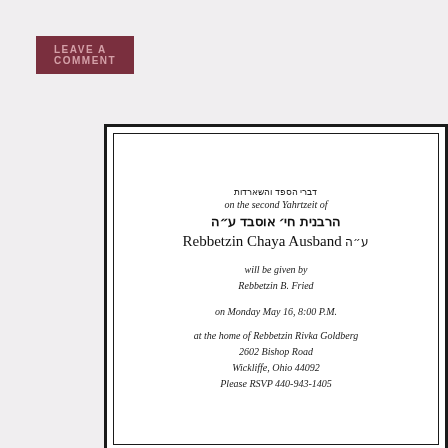LEAVE A COMMENT
דברי הספד והשארדות
on the second Yahrtzeit of
הרבנית חי׳ אוסבד ע״ה
Rebbetzin Chaya Ausband ע״ה
will be given by
Rebbetzin B. Fried
on Monday May 16, 8:00 P.M.
at the home of Rebbetzin Rivka Goldberg
2602 Bishop Road
Wickliffe, Ohio 44092
Please RSVP 440-943-1405